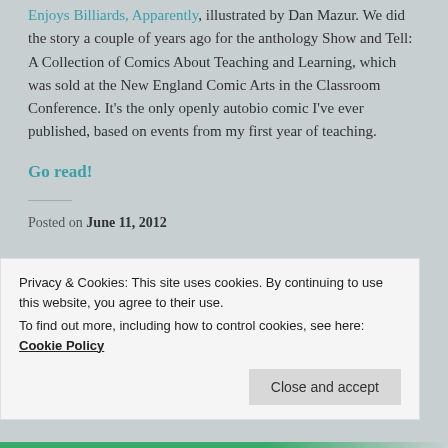Enjoys Billiards, Apparently, illustrated by Dan Mazur. We did the story a couple of years ago for the anthology Show and Tell: A Collection of Comics About Teaching and Learning, which was sold at the New England Comic Arts in the Classroom Conference. It's the only openly autobio comic I've ever published, based on events from my first year of teaching.
Go read!
Posted on June 11, 2012
Privacy & Cookies: This site uses cookies. By continuing to use this website, you agree to their use.
To find out more, including how to control cookies, see here: Cookie Policy
Close and accept